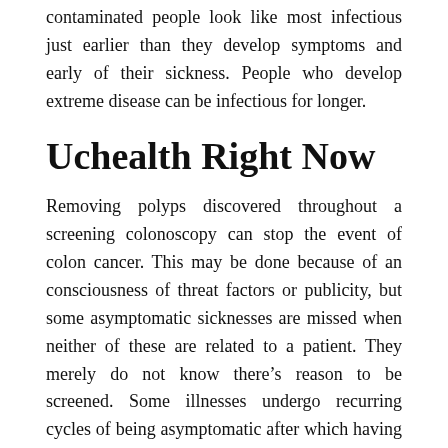contaminated people look like most infectious just earlier than they develop symptoms and early of their sickness. People who develop extreme disease can be infectious for longer.
Uchealth Right Now
Removing polyps discovered throughout a screening colonoscopy can stop the event of colon cancer. This may be done because of an consciousness of threat factors or publicity, but some asymptomatic sicknesses are missed when neither of these are related to a patient. They merely do not know there’s reason to be screened. Some illnesses undergo recurring cycles of being asymptomatic after which having a return of symptoms. A growing cancer could also be asymptomatic for an extended interval, rising and spreading till it begins to have an effect on a physique